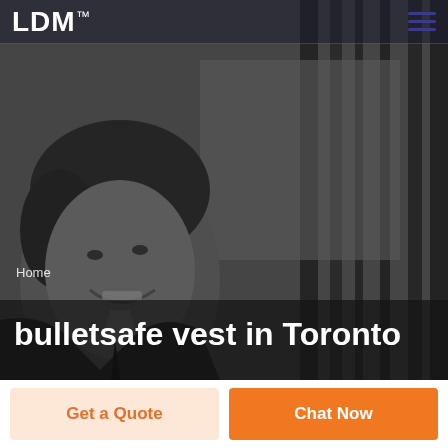LDM
[Figure (photo): Black and white photo of a smiling man in a suit with a dark background; hero image for a security/protection services website.]
Home
bulletsafe vest in Toronto
Get a Quote
Chat Now